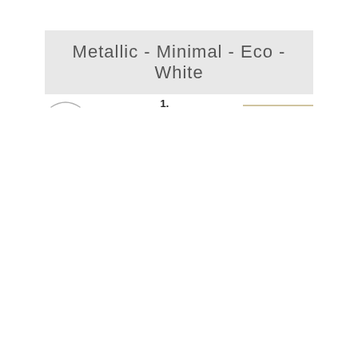Metallic - Minimal - Eco - White
1.